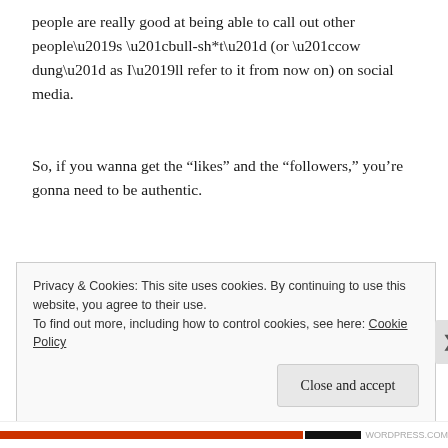people are really good at being able to call out other people’s “bull-sh*t” (or “cow dung” as I’ll refer to it from now on) on social media.
So, if you wanna get the “likes” and the “followers,” you’re gonna need to be authentic.
Privacy & Cookies: This site uses cookies. By continuing to use this website, you agree to their use.
To find out more, including how to control cookies, see here: Cookie Policy
Close and accept